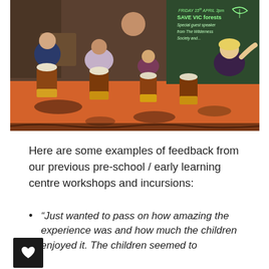[Figure (photo): Children sitting on an orange mat on the floor playing djembe drums in a classroom/community setting. A chalkboard in the background reads 'Friday 15th April 3pm SAVE VIC forests Special guest speaker from The Wilderness Society and...' An adult supervisor is visible in the background. Multiple children of varying ages are engaged with the drums.]
Here are some examples of feedback from our previous pre-school / early learning centre workshops and incursions:
“Just wanted to pass on how amazing the experience was and how much the children enjoyed it. The children seemed to